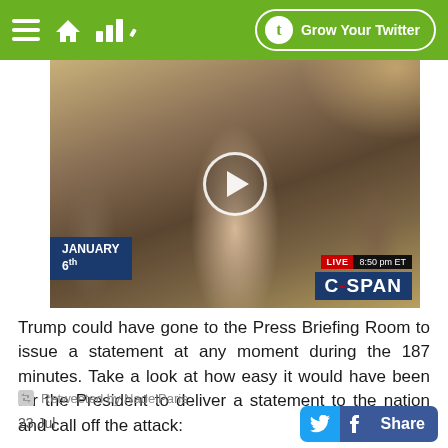Grow Your Twitter
[Figure (screenshot): Video thumbnail from C-SPAN showing a woman with blonde hair testifying at a January 6th hearing. The video has a play button overlay. Lower left shows 'JANUARY 6th' badge. Lower right shows LIVE 8:50 pm ET and C-SPAN badges.]
Trump could have gone to the Press Briefing Room to issue a statement at any moment during the 187 minutes. Take a look at how easy it would have been for the President to deliver a statement to the nation and call off the attack:
Retweeted by NadelParis
23 Jul